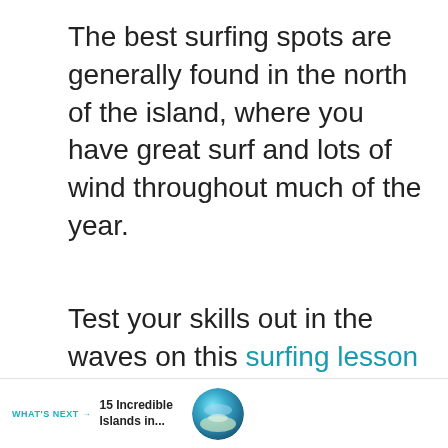The best surfing spots are generally found in the north of the island, where you have great surf and lots of wind throughout much of the year.
Test your skills out in the waves on this surfing lesson in Maui. Led by an expert instructor, learn surf techniques and timing as you hit the warm waters of Lahaina Harbor.
ceive personal attention from your instructor and top-of-the-line equipment to n.